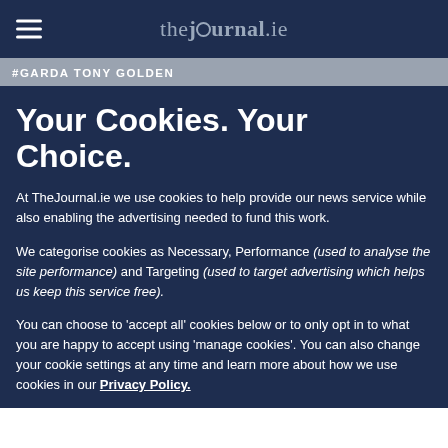thejournal.ie
#GARDA TONY GOLDEN
Your Cookies. Your Choice.
At TheJournal.ie we use cookies to help provide our news service while also enabling the advertising needed to fund this work.
We categorise cookies as Necessary, Performance (used to analyse the site performance) and Targeting (used to target advertising which helps us keep this service free).
You can choose to 'accept all' cookies below or to only opt in to what you are happy to accept using 'manage cookies'. You can also change your cookie settings at any time and learn more about how we use cookies in our Privacy Policy.